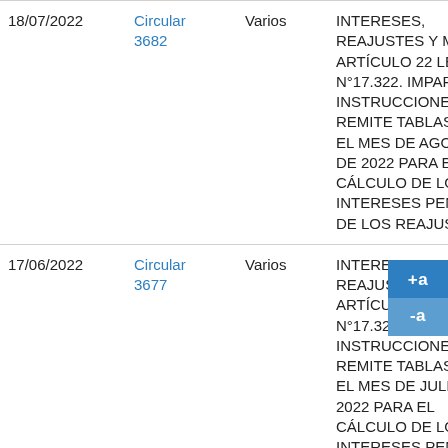| Fecha | Circular | Destinatario | Descripción |
| --- | --- | --- | --- |
| 18/07/2022 | Circular 3682 | Varios | INTERESES, REAJUSTES Y MULTAS ARTÍCULO 22 LEY N°17.322. IMPARTE INSTRUCCIONES Y REMITE TABLAS PARA EL MES DE AGOSTO DE 2022 PARA EL CÁLCULO DE LOS INTERESES PENALES Y DE LOS REAJUSTES. |
| 17/06/2022 | Circular 3677 | Varios | INTERESES, REAJUSTES Y MULTAS ARTÍCULO 22 LEY N°17.322. IMPARTE INSTRUCCIONES Y REMITE TABLAS PARA EL MES DE JULIO DE 2022 PARA EL CÁLCULO DE LOS INTERESES PENALES |